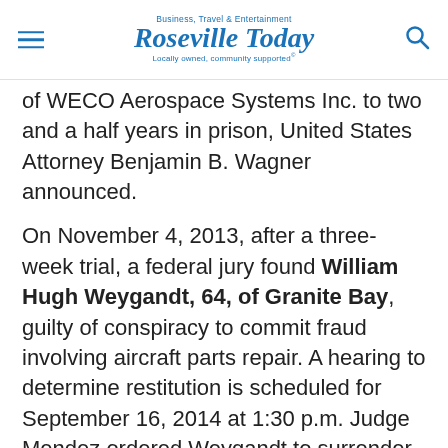Business, Travel & Entertainment Roseville Today Locally owned, community supported
of WECO Aerospace Systems Inc. to two and a half years in prison, United States Attorney Benjamin B. Wagner announced.
On November 4, 2013, after a three-week trial, a federal jury found William Hugh Weygandt, 64, of Granite Bay, guilty of conspiracy to commit fraud involving aircraft parts repair. A hearing to determine restitution is scheduled for September 16, 2014 at 1:30 p.m. Judge Mendez ordered Weygandt to surrender to begin serving his sentence on September 23, 2014.